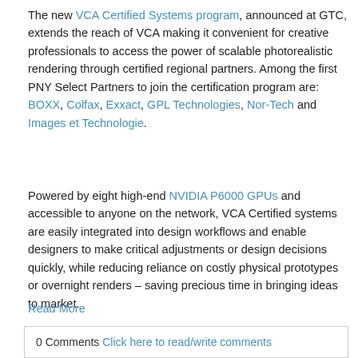The new VCA Certified Systems program, announced at GTC, extends the reach of VCA making it convenient for creative professionals to access the power of scalable photorealistic rendering through certified regional partners. Among the first PNY Select Partners to join the certification program are:  BOXX, Colfax, Exxact, GPL Technologies, Nor-Tech and Images et Technologie.
Powered by eight high-end NVIDIA P6000 GPUs and accessible to anyone on the network, VCA Certified systems are easily integrated into design workflows and enable designers to make critical adjustments or design decisions quickly, while reducing reliance on costly physical prototypes or overnight renders – saving precious time in bringing ideas to market.
Read More
0 Comments Click here to read/write comments
Topics: PNY, Quadro, NVIDIA, VCA, VCA Certified Systems, Workflows